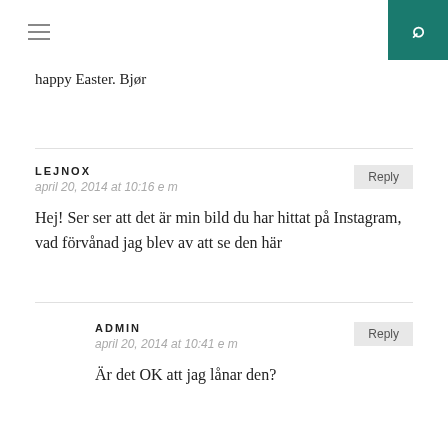[Navigation header with hamburger menu and search icon]
happy Easter. Bjør
LEJNOX
april 20, 2014 at 10:16 e m
Hej! Ser ser att det är min bild du har hittat på Instagram, vad förvånad jag blev av att se den här
ADMIN
april 20, 2014 at 10:41 e m
Är det OK att jag lånar den?